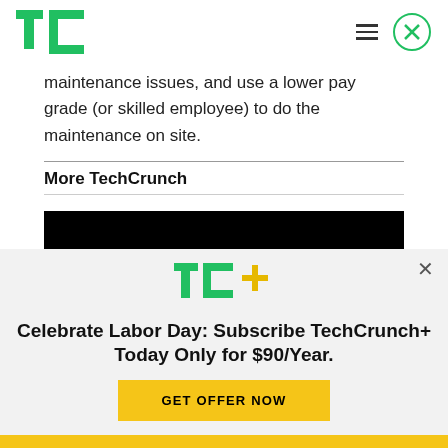TechCrunch
maintenance issues, and use a lower pay grade (or skilled employee) to do the maintenance on site.
More TechCrunch
[Figure (photo): Black image block / article thumbnail]
[Figure (logo): TC+ logo in green and yellow]
Celebrate Labor Day: Subscribe TechCrunch+ Today Only for $90/Year.
GET OFFER NOW